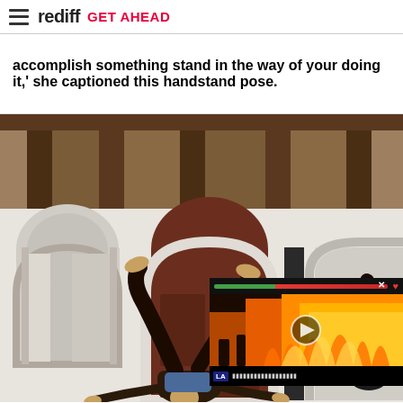rediff GET AHEAD
accomplish something stand in the way of your doing it,' she captioned this handstand pose.
[Figure (photo): Woman doing a handstand pose outside a Mediterranean-style building with arched windows and wooden beam ceiling. A video overlay in the bottom-right shows a fire scene with a play button and a news ticker bar.]